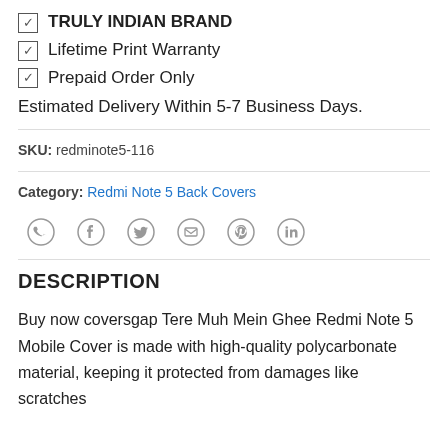☑ TRULY INDIAN BRAND
☑ Lifetime Print Warranty
☑ Prepaid Order Only
Estimated Delivery Within 5-7 Business Days.
SKU: redminote5-116
Category: Redmi Note 5 Back Covers
[Figure (infographic): Social share icons: WhatsApp, Facebook, Twitter, Email, Pinterest, LinkedIn]
DESCRIPTION
Buy now coversgap Tere Muh Mein Ghee Redmi Note 5 Mobile Cover is made with high-quality polycarbonate material, keeping it protected from damages like scratches